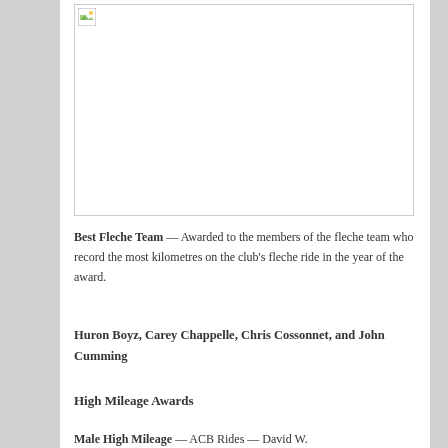[Figure (photo): A large placeholder image box with a broken image icon in the top-left corner]
Best Fleche Team — Awarded to the members of the fleche team who record the most kilometres on the club's fleche ride in the year of the award.
Huron Boyz, Carey Chappelle, Chris Cossonnet, and John Cumming
High Mileage Awards
Male High Mileage — ACB Rides — David W.